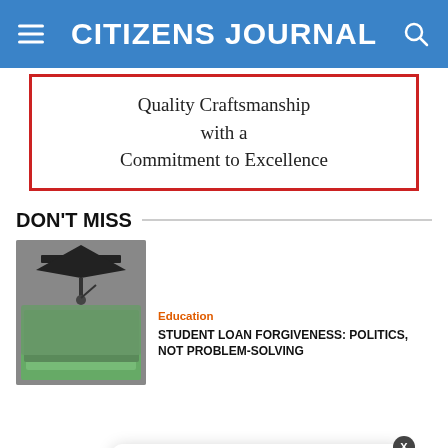CITIZENS JOURNAL
[Figure (screenshot): Advertisement banner with red border. Text: Quality Craftsmanship with a Commitment to Excellence]
DON'T MISS
[Figure (photo): Graduation cap and stacks of US dollar bills]
Education
STUDENT LOAN FORGIVENESS: POLITICS, NOT PROBLEM-SOLVING
[Figure (screenshot): Notification popup: Which Lasts Longer, Spike Proteins or CDC 'Facts?' — 1 hour ago, with pink virus image thumbnail]